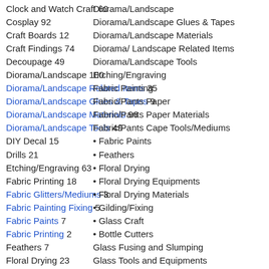Clock and Watch Craft 60
Diorama/Landscape
Cosplay 92
Diorama/Landscape Glues & Tapes
Craft Boards 12
Diorama/Landscape Materials
Craft Findings 74
Diorama/ Landscape Related Items
Decoupage 49
Diorama/Landscape Tools
Diorama/Landscape 100
Etching/Engraving
Diorama/Landscape Related Items 35
Fabric Painting
Diorama/Landscape Glues & Tapes 9
Fabric/Pants Paper
Diorama/Landscape Materials 96
Fabric/Pants Paper Materials
Diorama/Landscape Tools 49
Fabric/Pants Cape Tools/Mediums
DIY Decal 15
Fabric Paints
Drills 21
Feathers
Etching/Engraving 63
Floral Drying
Fabric Printing 18
Floral Drying Equipments
Fabric Glitters/Mediums 3
Floral Drying Materials
Fabric Painting Fixing 5
Gilding/Fixing
Fabric Paints 7
Glass Craft
Fabric Printing 2
Bottle Cutters
Feathers 7
Glass Fusing and Slumping
Floral Drying 23
Glass Tools and Equipments